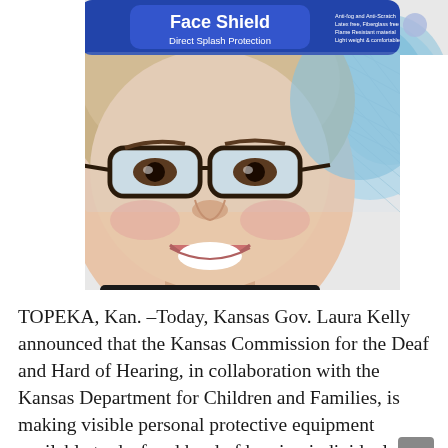[Figure (photo): A smiling woman wearing a clear face shield labeled 'Face Shield Direct Splash Protection' in white text on a blue band, over glasses, with a blue hair net. White background.]
TOPEKA, Kan. –Today, Kansas Gov. Laura Kelly announced that the Kansas Commission for the Deaf and Hard of Hearing, in collaboration with the Kansas Department for Children and Families, is making visible personal protective equipment available to deaf and hard of hearing individuals.